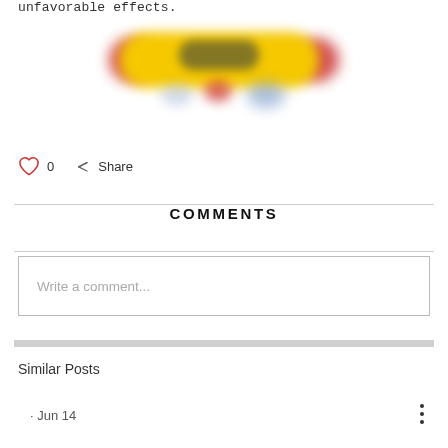unfavorable effects.
[Figure (photo): Blurred image of a yellow pill/rolling pin shape with red caps on each side and blue/red shapes below, on white background]
0  Share
COMMENTS
Write a comment...
Similar Posts
· Jun 14